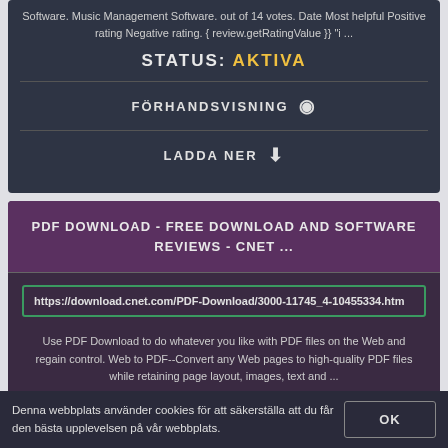Software. Music Management Software. out of 14 votes. Date Most helpful Positive rating Negative rating. { review.getRatingValue }} "i ...
STATUS: AKTIVA
FÖRHANDSVISNING
LADDA NER
PDF DOWNLOAD - FREE DOWNLOAD AND SOFTWARE REVIEWS - CNET ...
https://download.cnet.com/PDF-Download/3000-11745_4-10455334.htm
Use PDF Download to do whatever you like with PDF files on the Web and regain control. Web to PDF--Convert any Web pages to high-quality PDF files while retaining page layout, images, text and ...
Denna webbplats använder cookies för att säkerställa att du får den bästa upplevelsen på vår webbplats.